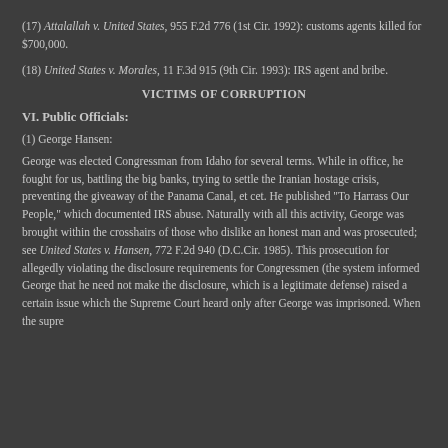(17) Attalallah v. United States, 955 F.2d 776 (1st Cir. 1992): customs agents killed for $700,000.
(18) United States v. Morales, 11 F.3d 915 (9th Cir. 1993): IRS agent and bribe.
VICTIMS OF CORRUPTION
VI. Public Officials:
(1) George Hansen:
George was elected Congressman from Idaho for several terms. While in office, he fought for us, battling the big banks, trying to settle the Iranian hostage crisis, preventing the giveaway of the Panama Canal, et cet. He published "To Harrass Our People," which documented IRS abuse. Naturally with all this activity, George was brought within the crosshairs of those who dislike an honest man and was prosecuted; see United States v. Hansen, 772 F.2d 940 (D.C.Cir. 1985). This prosecution for allegedly violating the disclosure requirements for Congressmen (the system informed George that he need not make the disclosure, which is a legitimate defense) raised a certain issue which the Supreme Court heard only after George was imprisoned. When the supre...